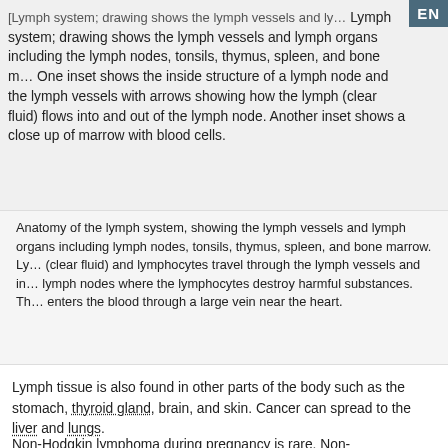[Figure (illustration): Lymph system; drawing shows the lymph vessels and lymph organs including the lymph nodes, tonsils, thymus, spleen, and bone marrow. One inset shows the inside structure of a lymph node and the lymph vessels with arrows showing how the lymph (clear fluid) flows into and out of the lymph node. Another inset shows a close up of marrow with blood cells.]
Anatomy of the lymph system, showing the lymph vessels and lymph organs including lymph nodes, tonsils, thymus, spleen, and bone marrow. Lymph (clear fluid) and lymphocytes travel through the lymph vessels and into the lymph nodes where the lymphocytes destroy harmful substances. The lymph then enters the blood through a large vein near the heart.
Lymph tissue is also found in other parts of the body such as the stomach, thyroid gland, brain, and skin. Cancer can spread to the liver and lungs.
Non-Hodgkin lymphoma during pregnancy is rare. Non-